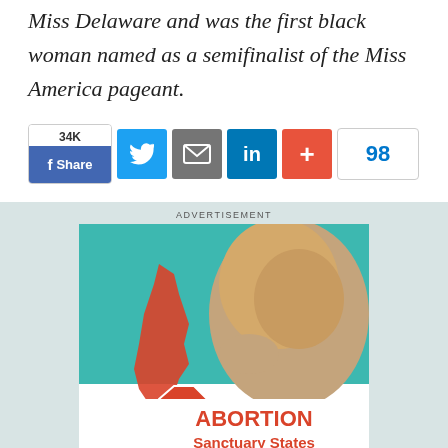Miss Delaware and was the first black woman named as a semifinalist of the Miss America pageant.
[Figure (infographic): Social sharing bar with Facebook share button showing 34K count, Twitter bird icon, email envelope icon, LinkedIn 'in' icon, plus/add icon, and a count button showing 98]
[Figure (infographic): Advertisement showing a fetus image with text 'STOP ABORTION Sanctuary States' with a red California map outline]